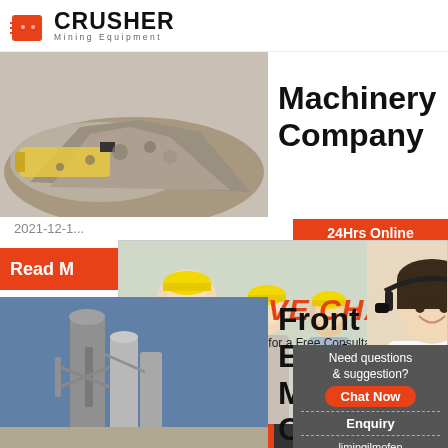[Figure (logo): Crusher Mining Equipment logo with red shopping bag icon and bold CRUSHER text]
[Figure (photo): Crusher/excavator equipment with pile of crushed rock material]
Machinery Company
2021-12-1
24Hrs Online
Read M
[Figure (screenshot): Live Chat popup overlay with workers in hard hats, LIVE CHAT title in red, Click for a Free Consultation text, Chat now and Chat later buttons, customer service agent photo on right]
[Figure (photo): Industrial machinery/mill equipment with silos and structures against blue sky]
Front Earth Machi Comp
Need questions & suggestion?
Chat Now
Enquiry
limingjlmofen@sina.com